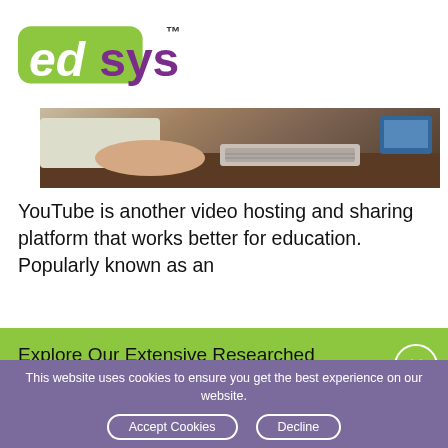edsys
[Figure (photo): Photo of a student working at a keyboard/desk, cropped to show the desk and keyboard area]
YouTube is another video hosting and sharing platform that works better for education. Popularly known as an
Explore Our Extensive Researched Educational App Directory
This website uses cookies to ensure you get the best experience on our website.
Accept Cookies    Decline